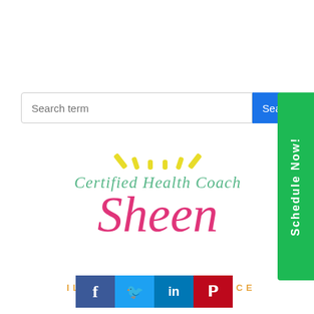[Figure (screenshot): Search input field with placeholder text 'Search term' and a blue 'Sear...' button to the right]
[Figure (logo): Certified Health Coach Sheen logo with yellow sun rays, green script 'Certified Health Coach' text, pink script 'Sheen' text, and orange 'ILLUMIN... DIANCE' text]
[Figure (infographic): Social sharing bar with Facebook (f), Twitter, LinkedIn (in), and Pinterest (P) icon buttons]
[Figure (other): Green vertical sidebar button with white vertical text 'Schedule Now!']